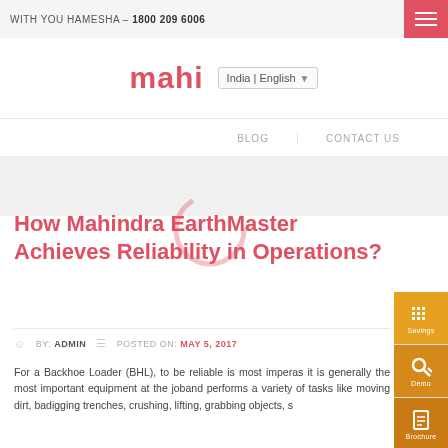WITH YOU HAMESHA – 1800 209 6006
[Figure (logo): Mahindra logo text in red with India | English language selector dropdown]
BLOG   CONTACT US
How Mahindra EarthMaster Achieves Reliability in Operations?
BY: ADMIN   POSTED ON: MAY 5, 2017
For a Backhoe Loader (BHL), to be reliable is most imper... as it is generally the most important equipment at the job... and performs a variety of tasks like moving dirt, ba... digging trenches, crushing, lifting, grabbing objects, s...